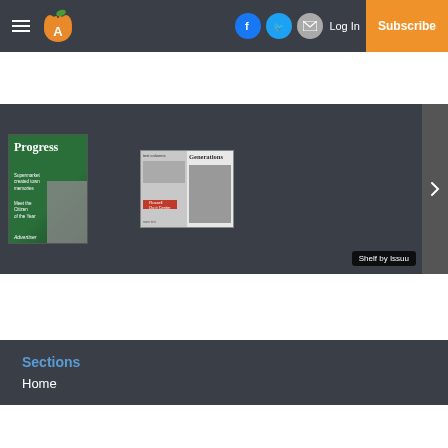Advertiser — Log In | Subscribe
[Figure (screenshot): Magazine carousel showing Progress 2022 Advertiser cover and Generations publication, with Shelf by Issuu label and navigation arrow]
Sections
Home